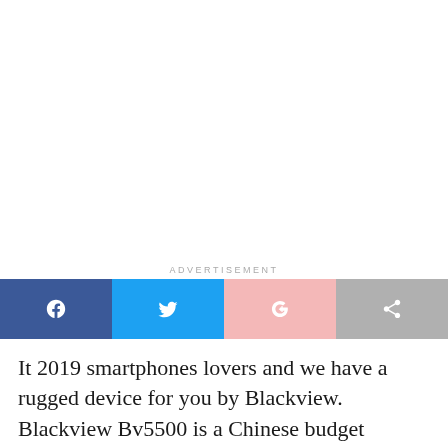[Figure (other): White blank advertisement space at the top of the page]
ADVERTISEMENT
[Figure (infographic): Social share button bar with Facebook (dark blue), Twitter (light blue), Google+ (light pink), and Share (grey) buttons]
It 2019 smartphones lovers and we have a rugged device for you by Blackview. Blackview Bv5500 is a Chinese budget smartphone, so as not to worry, it comes cheap. The device is not actually the first rugged device of the year but it should be the first budget